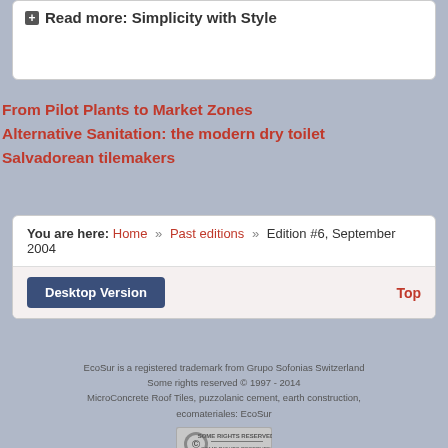Read more: Simplicity with Style
From Pilot Plants to Market Zones
Alternative Sanitation: the modern dry toilet
Salvadorean tilemakers
You are here: Home » Past editions » Edition #6, September 2004
Desktop Version
Top
EcoSur is a registered trademark from Grupo Sofonias Switzerland Some rights reserved © 1997 - 2014 MicroConcrete Roof Tiles, puzzolanic cement, earth construction, ecomateriales: EcoSur
[Figure (logo): Creative Commons Some Rights Reserved badge]
This work is licensed under a Creative Commons Attribution-NonCommercial-ShareAlike 3.0 Unported (CC BY-NC-SA 3.0)